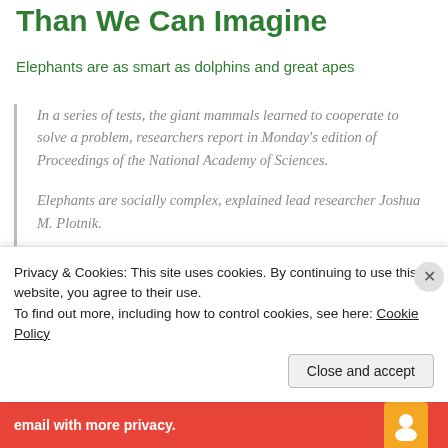Than We Can Imagine
Elephants are as smart as dolphins and great apes
In a series of tests, the giant mammals learned to cooperate to solve a problem, researchers report in Monday's edition of Proceedings of the National Academy of Sciences.
Elephants are socially complex, explained lead researcher Joshua M. Plotnik.
“They help others in distress,” he said. “They seem in
Privacy & Cookies: This site uses cookies. By continuing to use this website, you agree to their use.
To find out more, including how to control cookies, see here: Cookie Policy
Close and accept
email with more privacy.